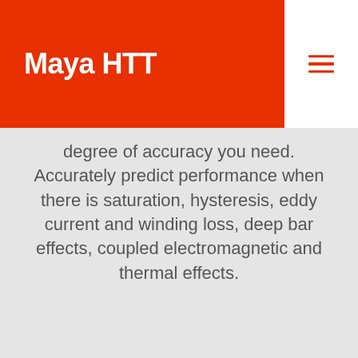Maya HTT
degree of accuracy you need. Accurately predict performance when there is saturation, hysteresis, eddy current and winding loss, deep bar effects, coupled electromagnetic and thermal effects.